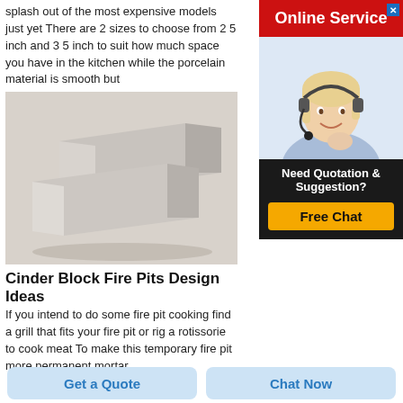splash out of the most expensive models just yet There are 2 sizes to choose from 2 5 inch and 3 5 inch to suit how much space you have in the kitchen while the porcelain material is smooth but
[Figure (photo): Two light grey/beige brick or porcelain tile pieces stacked at an angle on a light surface]
[Figure (photo): Online Service advertisement banner with a woman wearing a headset smiling, red header saying Online Service, and a Free Chat call-to-action button]
Cinder Block Fire Pits Design Ideas
If you intend to do some fire pit cooking find a grill that fits your fire pit or rig a rotissorie to cook meat To make this temporary fire pit more permanent mortar
Get a Quote
Chat Now